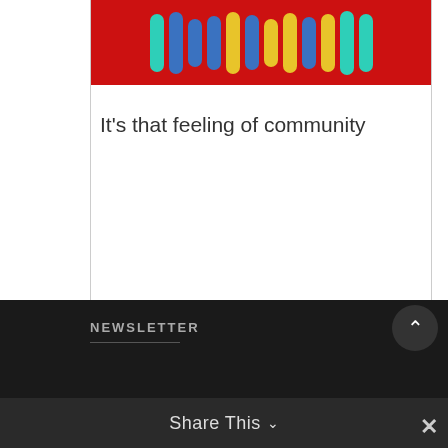[Figure (illustration): Colorful vertical bar/pill shapes on a red background forming a decorative banner image]
It's that feeling of community
NEWSLETTER
Share This ∨
✕